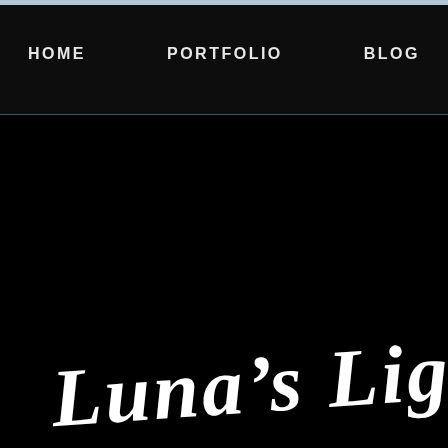HOME   PORTFOLIO   BLOG
[Figure (screenshot): Black background main content area with large white cursive/script text partially visible at the bottom reading 'Luna's Lig...' (truncated)]
Luna's Light